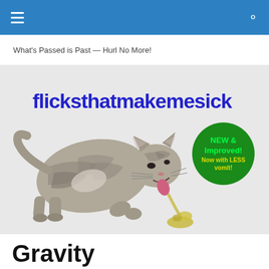Navigation bar with hamburger menu and search icon
What's Passed is Past — Hurl No More!
[Figure (illustration): Website banner for 'flicksthatmakemesick' showing a tabby cat vomiting on a white background. Bold blue text reads 'flicksthatmakemesick'. A dark green circle badge reads 'NEW & Improved! Now with LESS vomit!' in green and yellow text.]
Gravity